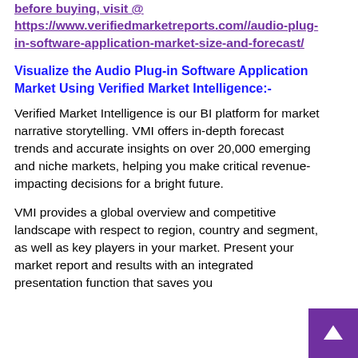before buying, visit @ https://www.verifiedmarketreports.com//audio-plug-in-software-application-market-size-and-forecast/
Visualize the Audio Plug-in Software Application Market Using Verified Market Intelligence:-
Verified Market Intelligence is our BI platform for market narrative storytelling. VMI offers in-depth forecast trends and accurate insights on over 20,000 emerging and niche markets, helping you make critical revenue-impacting decisions for a bright future.
VMI provides a global overview and competitive landscape with respect to region, country and segment, as well as key players in your market. Present your market report and results with an integrated presentation function that saves you